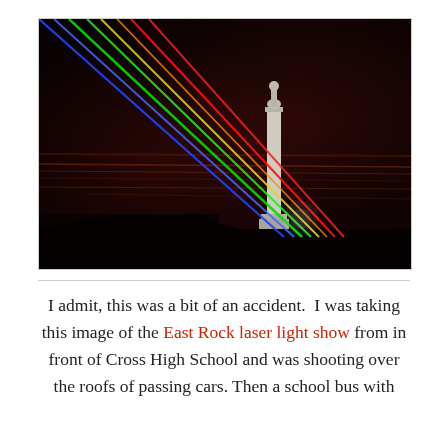[Figure (photo): Night photograph of a tall monument/column with colorful laser beams (blue, green, yellow, red) shooting diagonally across a dark red-orange sky, taken from street level in front of a school.]
I admit, this was a bit of an accident.  I was taking this image of the East Rock laser light show from in front of Cross High School and was shooting over the roofs of passing cars. Then a school bus with